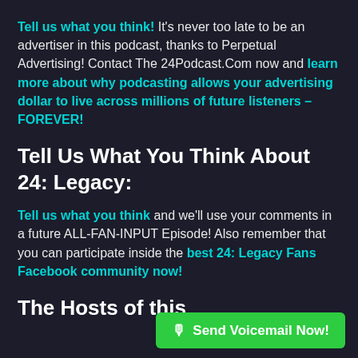Tell us what you think! It's never too late to be an advertiser in this podcast, thanks to Perpetual Advertising! Contact The 24Podcast.Com now and learn more about why podcasting allows your advertising dollar to live across millions of future listeners – FOREVER!
Tell Us What You Think About 24: Legacy:
Tell us what you think and we'll use your comments in a future ALL-FAN-INPUT Episode! Also remember that you can participate inside the best 24: Legacy Fans Facebook community now!
The Hosts of this...
[Figure (other): Green button with microphone icon and text 'Send Voicemail Now!']